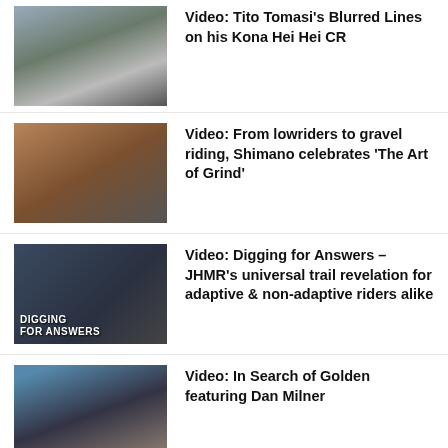Video: Tito Tomasi's Blurred Lines on his Kona Hei Hei CR
Video: From lowriders to gravel riding, Shimano celebrates 'The Art of Grind'
Video: Digging for Answers – JHMR's universal trail revelation for adaptive & non-adaptive riders alike
Video: In Search of Golden featuring Dan Milner
Bas van Steenbergen swaps out MTB for BMX in 'The switch up'
Can an amateur rider complete the UNBOUND Gravel 200?
What is the spirit of Enduro? Shimano asks MTB riders